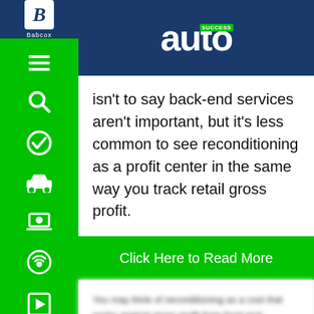autoSUCCESS
isn't to say back-end services aren't important, but it's less common to see reconditioning as a profit center in the same way you track retail gross profit.
Click Here to Read More
[blurred continuation text]